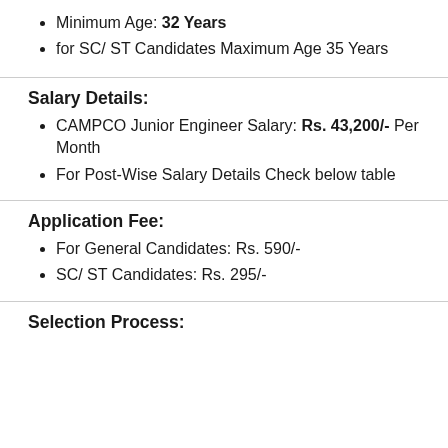Minimum Age: 32 Years
for SC/ ST Candidates Maximum Age 35 Years
Salary Details:
CAMPCO Junior Engineer Salary: Rs. 43,200/- Per Month
For Post-Wise Salary Details Check below table
Application Fee:
For General Candidates: Rs. 590/-
SC/ ST Candidates: Rs. 295/-
Selection Process: